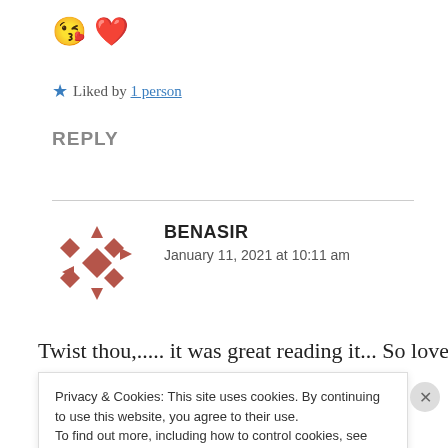😘 ❤️
★ Liked by 1 person
REPLY
BENASIR — January 11, 2021 at 10:11 am
Twist thou,..... it was great reading it... So lovely and
Privacy & Cookies: This site uses cookies. By continuing to use this website, you agree to their use. To find out more, including how to control cookies, see here: Cookie Policy — Close and accept